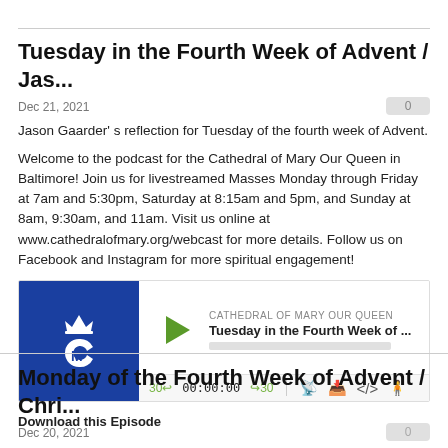Tuesday in the Fourth Week of Advent / Jas...
Dec 21, 2021
Jason Gaarder' s reflection for Tuesday of the fourth week of Advent.
Welcome to the podcast for the Cathedral of Mary Our Queen in Baltimore! Join us for livestreamed Masses Monday through Friday at 7am and 5:30pm, Saturday at 8:15am and 5pm, and Sunday at 8am, 9:30am, and 11am. Visit us online at www.cathedralofmary.org/webcast for more details. Follow us on Facebook and Instagram for more spiritual engagement!
[Figure (other): Podcast audio player widget with Cathedral of Mary Our Queen logo (blue background, white CM monogram with crown), play button, episode title 'Tuesday in the Fourth Week of ...', progress bar, and controls showing 30-second rewind, 00:00:00 time, 30-second forward, and icons for RSS, download, embed, and accessibility.]
Download this Episode
Monday of the Fourth Week of Advent / Chri...
Dec 20, 2021